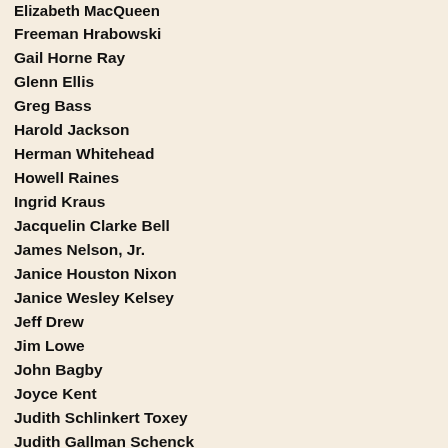Elizabeth MacQueen
Freeman Hrabowski
Gail Horne Ray
Glenn Ellis
Greg Bass
Harold Jackson
Herman Whitehead
Howell Raines
Ingrid Kraus
Jacquelin Clarke Bell
James Nelson, Jr.
Janice Houston Nixon
Janice Wesley Kelsey
Jeff Drew
Jim Lowe
John Bagby
Joyce Kent
Judith Schlinkert Toxey
Judith Gallman Schenck